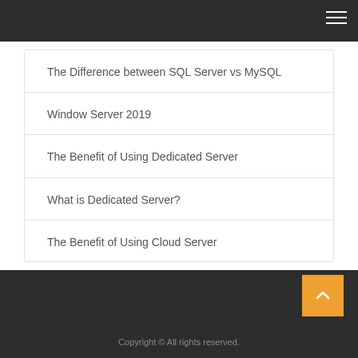The Difference between SQL Server vs MySQL
Window Server 2019
The Benefit of Using Dedicated Server
What is Dedicated Server?
The Benefit of Using Cloud Server
Copyright © All rights reserved.